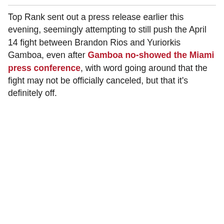Top Rank sent out a press release earlier this evening, seemingly attempting to still push the April 14 fight between Brandon Rios and Yuriorkis Gamboa, even after Gamboa no-showed the Miami press conference, with word going around that the fight may not be officially canceled, but that it's definitely off.